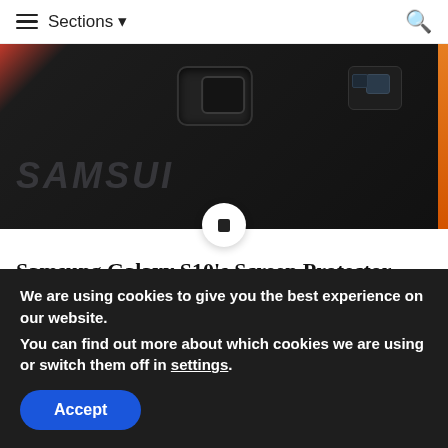≡ Sections ▾  🔍
[Figure (photo): Close-up photo of the back of a Samsung smartphone showing camera bump, lenses, and Samsung logo text. Orange accent strip on the right edge. Dark background.]
Samsung Galaxy S10's Screen Protector Hints At Possible Bezel-Less Display
Bezel-less displays have been all the rage ever since the infamous notch has been introduced. Smartphone
We are using cookies to give you the best experience on our website.
You can find out more about which cookies we are using or switch them off in settings.
Accept